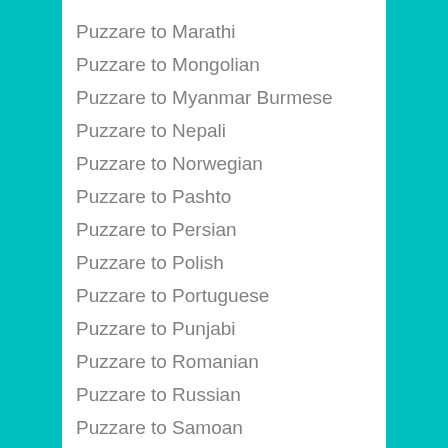Puzzare to Marathi
Puzzare to Mongolian
Puzzare to Myanmar Burmese
Puzzare to Nepali
Puzzare to Norwegian
Puzzare to Pashto
Puzzare to Persian
Puzzare to Polish
Puzzare to Portuguese
Puzzare to Punjabi
Puzzare to Romanian
Puzzare to Russian
Puzzare to Samoan